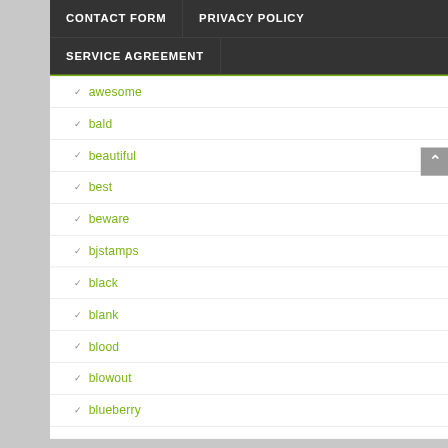CONTACT FORM | PRIVACY POLICY | SERVICE AGREEMENT
awesome
bald
beautiful
best
beware
bjstamps
black
blank
blood
blowout
blueberry